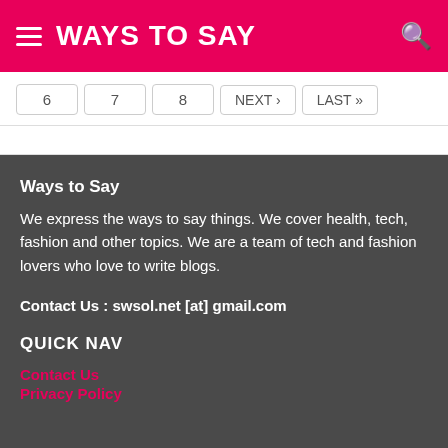WAYS TO SAY
6  7  8  NEXT ›  LAST »
Ways to Say
We express the ways to say things. We cover health, tech, fashion and other topics. We are a team of tech and fashion lovers who love to write blogs.
Contact Us : swsol.net [at] gmail.com
QUICK NAV
Contact Us
Privacy Policy